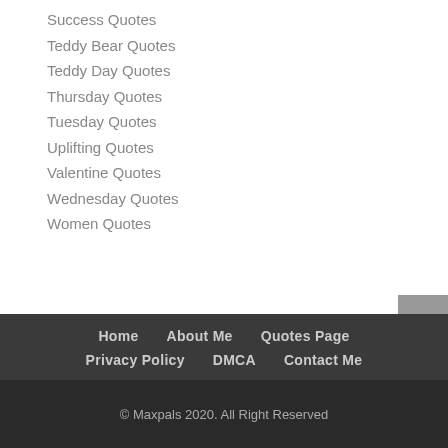Success Quotes
Teddy Bear Quotes
Teddy Day Quotes
Thursday Quotes
Tuesday Quotes
Uplifting Quotes
Valentine Quotes
Wednesday Quotes
Women Quotes
Home   About Me   Quotes Page   Privacy Policy   DMCA   Contact Me   © Maxpals 2020. All Right Reserved